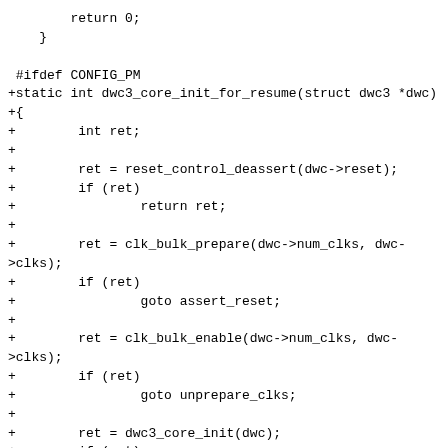return 0;
    }

 #ifdef CONFIG_PM
+static int dwc3_core_init_for_resume(struct dwc3 *dwc)
+{
+       int ret;
+
+       ret = reset_control_deassert(dwc->reset);
+       if (ret)
+               return ret;
+
+       ret = clk_bulk_prepare(dwc->num_clks, dwc->clks);
+       if (ret)
+               goto assert_reset;
+
+       ret = clk_bulk_enable(dwc->num_clks, dwc->clks);
+       if (ret)
+               goto unprepare_clks;
+
+       ret = dwc3_core_init(dwc);
+       if (ret)
+               goto disable_clks;
+
+       return 0;
+
+disable_clks:
+       clk_bulk_disable(dwc->num_clks, dwc->clks);